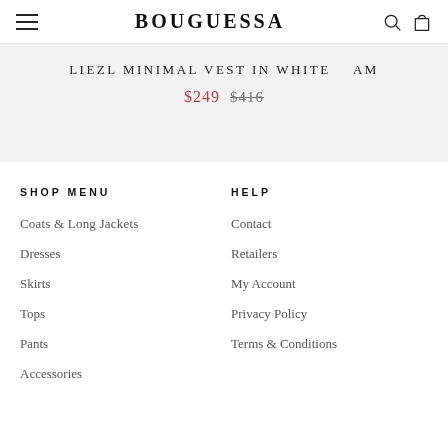BOUGUESSA
LIEZL MINIMAL VEST IN WHITE
$249  $416
SHOP MENU
Coats & Long Jackets
Dresses
Skirts
Tops
Pants
Accessories
HELP
Contact
Retailers
My Account
Privacy Policy
Terms & Conditions